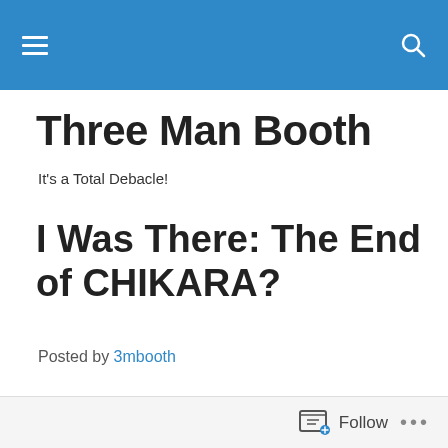Three Man Booth — site header bar
Three Man Booth
It's a Total Debacle!
I Was There: The End of CHIKARA?
Posted by 3mbooth
In "I Was There" 3MBooth provides a first hand account of a things we attend.
Last week, The Summer Of Wrestling unofficially started as  several
Follow ...